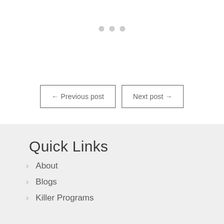[Figure (other): Three small grey dots arranged horizontally, indicating a loading or pagination indicator]
← Previous post
Next post →
Quick Links
About
Blogs
Killer Programs